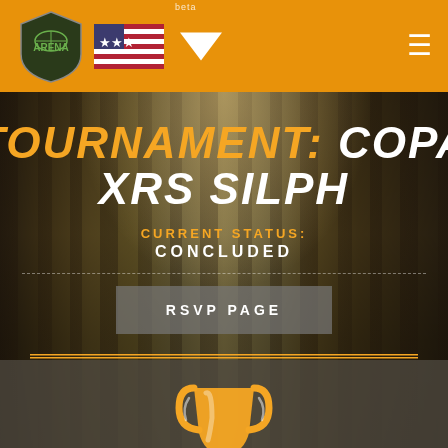beta | ARENA logo | US flag | hamburger menu
TOURNAMENT: COPA XRS SILPH
CURRENT STATUS: CONCLUDED
RSVP PAGE
[Figure (illustration): White trophy/cup icon on dark background]
FOUR-WAY TIE!